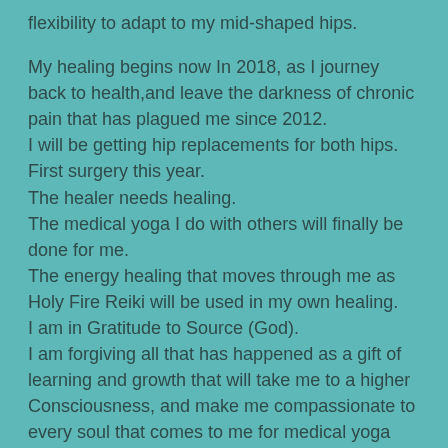flexibility to adapt to my mid-shaped hips.

My healing begins now In 2018, as I journey back to health,and leave the darkness of chronic pain that has plagued me since 2012.
I will be getting hip replacements for both hips.
First surgery this year.
The healer needs healing.
The medical yoga I do with others will finally be done for me.
The energy healing that moves through me as Holy Fire Reiki will be used in my own healing.
I am in Gratitude to Source (God).
I am forgiving all that has happened as a gift of learning and growth that will take me to a higher Consciousness, and make me compassionate to every soul that comes to me for medical yoga and energy healing.